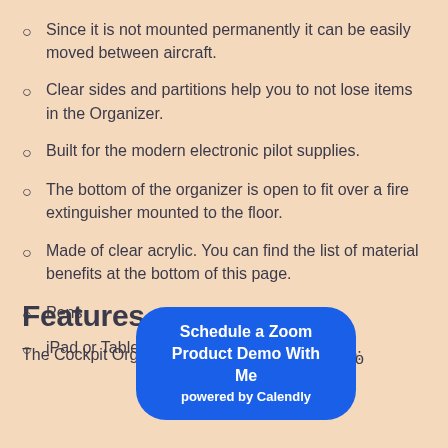Since it is not mounted permanently it can be easily moved between aircraft.
Clear sides and partitions help you to not lose items in the Organizer.
Built for the modern electronic pilot supplies.
The bottom of the organizer is open to fit over a fire extinguisher mounted to the floor.
Made of clear acrylic. You can find the list of material benefits at the bottom of this page.
Features
The Cockpit Organizer provides easy access to:
Pens
iPad or Tablet
Portable Radio
[Figure (other): Blue rounded button overlay: 'Schedule a Zoom Product Demo With Me powered by Calendly']